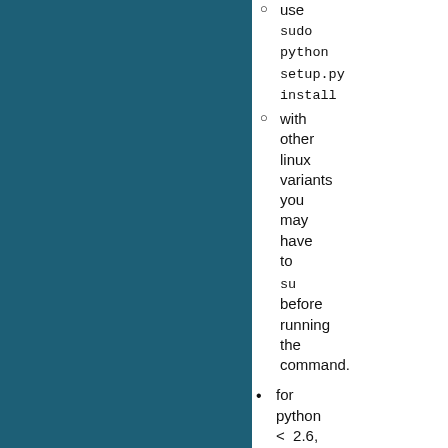use sudo python setup.py install
with other linux variants you may have to su before running the command.
for python < 2.6,